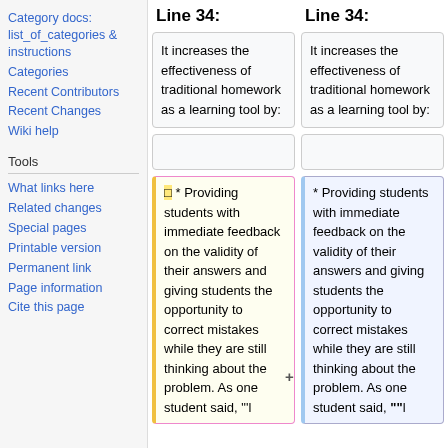Category docs: list_of_categories & instructions
Categories
Recent Contributors
Recent Changes
Wiki help
Tools
What links here
Related changes
Special pages
Printable version
Permanent link
Page information
Cite this page
Line 34:
It increases the effectiveness of traditional homework as a learning tool by:
* Providing students with immediate feedback on the validity of their answers and giving students the opportunity to correct mistakes while they are still thinking about the problem. As one student said, "'l
Line 34:
It increases the effectiveness of traditional homework as a learning tool by:
* Providing students with immediate feedback on the validity of their answers and giving students the opportunity to correct mistakes while they are still thinking about the problem. As one student said, ""l